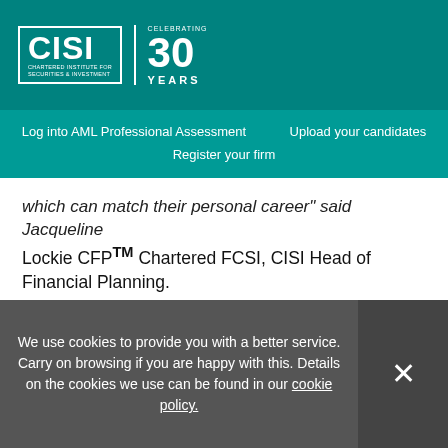[Figure (logo): CISI Chartered Institute for Securities & Investment logo with 'Celebrating 30 Years' mark on teal background]
Log into AML Professional Assessment   Upload your candidates   Register your firm
which can match their personal career" said Jacqueline Lockie CFPTM Chartered FCSI, CISI Head of Financial Planning.
The CISI Level 7 Diploma in Advanced Financial Planning is the highest-level financial planning qualification in the UK. Once a candidate has attained the Level 7, completed one to three years relevant experience, joins the CISI as a
We use cookies to provide you with a better service. Carry on browsing if you are happy with this. Details on the cookies we use can be found in our cookie policy.